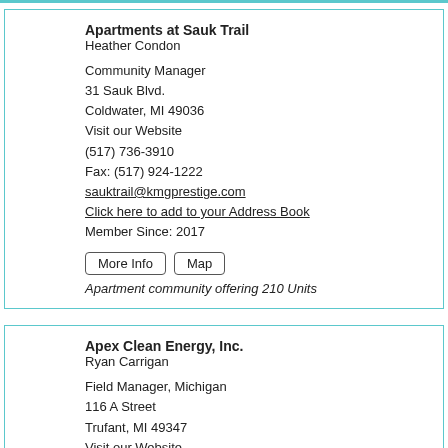Apartments at Sauk Trail
Heather Condon

Community Manager
31 Sauk Blvd.
Coldwater, MI 49036
Visit our Website
(517) 736-3910
Fax: (517) 924-1222
sauktrail@kmgprestige.com
Click here to add to your Address Book
Member Since: 2017
Apartment community offering 210 Units
Apex Clean Energy, Inc.
Ryan Carrigan

Field Manager, Michigan
116 A Street
Trufant, MI 49347
Visit our Website
(616) 259-5342
Fax: (434) 220-3712
Ryan.Carrigan@apexcleanenergy.com
Click here to add to your Address Book